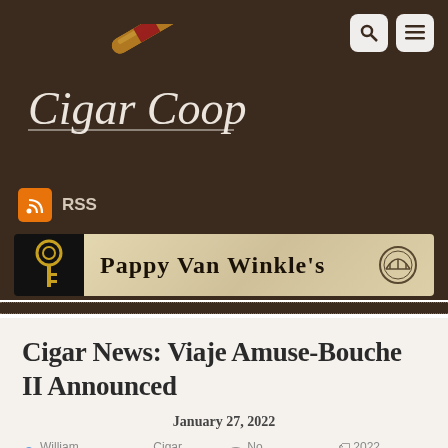[Figure (logo): Cigar Coop website logo with cursive text and illustrated cigar with smoke]
[Figure (logo): Pappy Van Winkle's banner advertisement with golden key on black background and medieval-style text]
Cigar News: Viaje Amuse-Bouche II Announced
January 27, 2022
William Cooper · Cigar News · No Comments · 2022 Preview